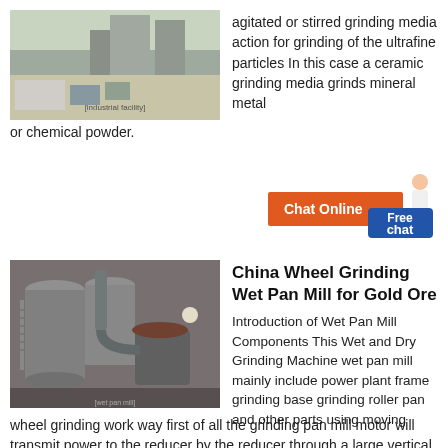[Figure (photo): Industrial grinding mill facility exterior, concrete buildings and metal equipment visible]
agitated or stirred grinding media action for grinding of the ultrafine particles In this case a ceramic grinding media grinds mineral metal or chemical powder.
[Figure (other): Chat Online button in orange and Free chat button in blue with female figure illustration]
[Figure (photo): Large industrial wet pan mill / wheel grinding machine inside a metal-framed warehouse building]
China Wheel Grinding Wet Pan Mill for Gold Ore
Introduction of Wet Pan Mill Components This Wet and Dry Grinding Machine wet pan mill mainly include power plant frame grinding base grinding roller pan and other parts using moving wheel grinding work way first of all the grinding pan mill motor will transmit power to the reducer by the reducer through a large vertical pass torque at the top of the horizontal axis and then it